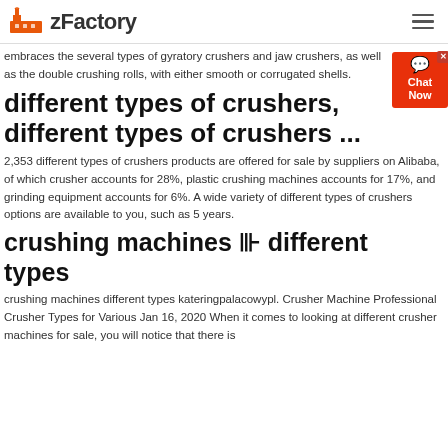zFactory
embraces the several types of gyratory crushers and jaw crushers, as well as the double crushing rolls, with either smooth or corrugated shells.
different types of crushers, different types of crushers ...
2,353 different types of crushers products are offered for sale by suppliers on Alibaba, of which crusher accounts for 28%, plastic crushing machines accounts for 17%, and grinding equipment accounts for 6%. A wide variety of different types of crushers options are available to you, such as 5 years.
crushing machines ⊪ different types
crushing machines different types kateringpalacowypl. Crusher Machine Professional Crusher Types for Various Jan 16, 2020 When it comes to looking at different crusher machines for sale, you will notice that there is